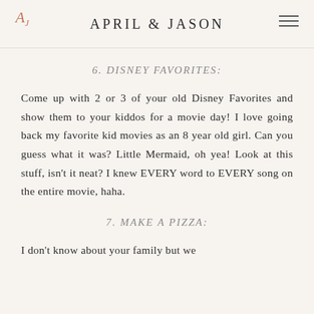APRIL & JASON
6. DISNEY FAVORITES:
Come up with 2 or 3 of your old Disney Favorites and show them to your kiddos for a movie day! I love going back my favorite kid movies as an 8 year old girl. Can you guess what it was? Little Mermaid, oh yea! Look at this stuff, isn't it neat? I knew EVERY word to EVERY song on the entire movie, haha.
7. MAKE A PIZZA:
I don't know about your family but we